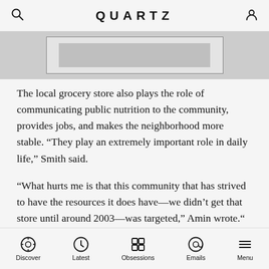QUARTZ
[Figure (other): Advertisement placeholder image area with gray background and bordered inner box]
The local grocery store also plays the role of communicating public nutrition to the community, provides jobs, and makes the neighborhood more stable. “They play an extremely important role in daily life,” Smith said.
“What hurts me is that this community that has strived to have the resources it does have—we didn’t get that store until around 2003—was targeted,” Amin wrote.“ People who work and scrape and save for everything they have, were going about their business and met with violence. To take from folks who have so little is
Discover  Latest  Obsessions  Emails  Menu